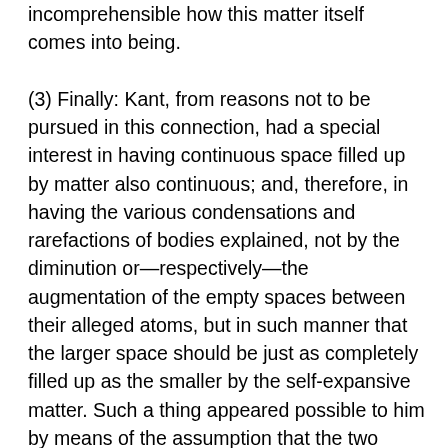incomprehensible how this matter itself comes into being.

(3) Finally: Kant, from reasons not to be pursued in this connection, had a special interest in having continuous space filled up by matter also continuous; and, therefore, in having the various condensations and rarefactions of bodies explained, not by the diminution or—respectively—the augmentation of the empty spaces between their alleged atoms, but in such manner that the larger space should be just as completely filled up as the smaller by the self-expansive matter. Such a thing appeared possible to him by means of the assumption that the two forces of repulsion and attraction could increase or diminish in various proportions; and from this there results a continuous condensation and rarefaction. On the contrary, it must be remembered that the assumption of two opposed forces belonging to the same subject in relation to the same object remains an insoluble contradiction: